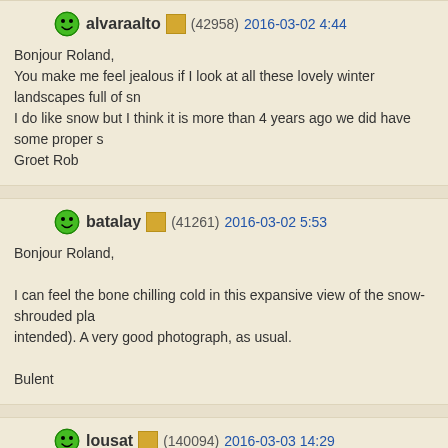alvaraalto (42958) 2016-03-02 4:44
Bonjour Roland,
You make me feel jealous if I look at all these lovely winter landscapes full of sn
I do like snow but I think it is more than 4 years ago we did have some proper s
Groet Rob
batalay (41261) 2016-03-02 5:53
Bonjour Roland,
I can feel the bone chilling cold in this expansive view of the snow-shrouded pla
intended). A very good photograph, as usual.
Bulent
lousat (140094) 2016-03-03 14:29
Salut Roland,un tapis blanc magnifique,sans aucune traces des passages mais
ombres,lumieres et piquets,qualite' super et une atmopshere de paix et calme m
merci,Luciano